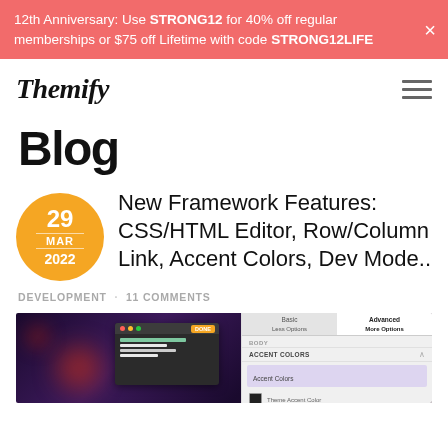12th Anniversary: Use STRONG12 for 40% off regular memberships or $75 off Lifetime with code STRONG12LIFE
Themify
Blog
New Framework Features: CSS/HTML Editor, Row/Column Link, Accent Colors, Dev Mode..
DEVELOPMENT · 11 COMMENTS
[Figure (screenshot): Blog post featured image showing a dark purple bokeh background on the left and a UI screenshot panel on the right showing Advanced/More Options tabs with BODY label, ACCENT COLORS section, Accent Colors row, and a dark color swatch with label]